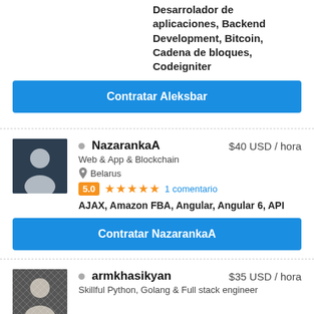Desarrolador de aplicaciones, Backend Development, Bitcoin, Cadena de bloques, Codeigniter
Contratar Aleksbar
NazarankaA  $40 USD / hora
Web & App & Blockchain
Belarus
5.0 ★★★★★ 1 comentario
AJAX, Amazon FBA, Angular, Angular 6, API
Contratar NazarankaA
armkhasikyan  $35 USD / hora
Skillful Python, Golang & Full stack engineer